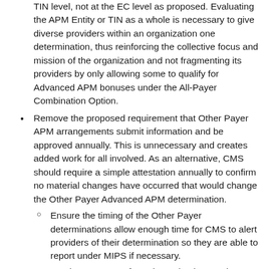TIN level, not at the EC level as proposed. Evaluating the APM Entity or TIN as a whole is necessary to give diverse providers within an organization one determination, thus reinforcing the collective focus and mission of the organization and not fragmenting its providers by only allowing some to qualify for Advanced APM bonuses under the All-Payer Combination Option.
Remove the proposed requirement that Other Payer APM arrangements submit information and be approved annually. This is unnecessary and creates added work for all involved. As an alternative, CMS should require a simple attestation annually to confirm no material changes have occurred that would change the Other Payer Advanced APM determination.
Ensure the timing of the Other Payer determinations allow enough time for CMS to alert providers of their determination so they are able to report under MIPS if necessary.
For the purposes of QP determinations, only require APM Entities or TINs to submit information about how Other Payer...